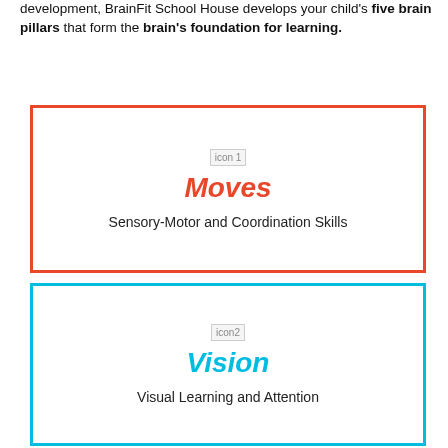development, BrainFit School House develops your child's five brain pillars that form the brain's foundation for learning.
[Figure (infographic): Red-bordered box with icon placeholder, bold italic 'Moves' in red, and subtitle 'Sensory-Motor and Coordination Skills']
[Figure (infographic): Cyan-bordered box with icon placeholder, bold italic 'Vision' in cyan, and subtitle 'Visual Learning and Attention']